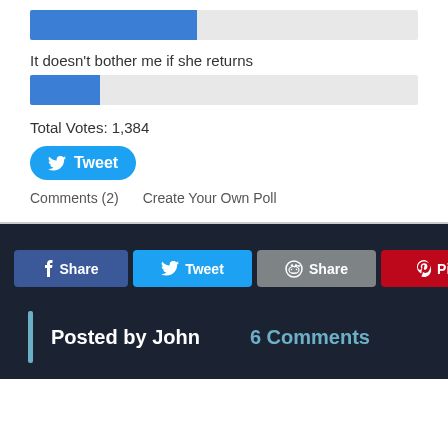[Figure (bar-chart): Partial blue progress bar at top of poll widget]
It doesn't bother me if she returns
[Figure (bar-chart): Blue progress bar for second poll option]
Total Votes: 1,384
[Figure (other): Tweet button]
Comments (2)   Create Your Own Poll
[Figure (infographic): Social share buttons: Share (Facebook), Tweet (Twitter), Share (Reddit), Pin (Pinterest), Share (Tumblr), M (Mail)]
Posted by John     6 Comments